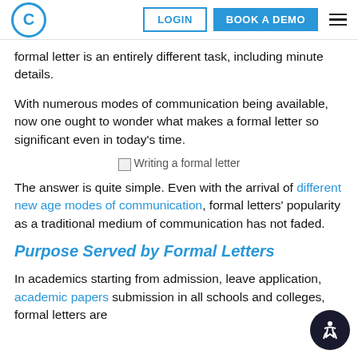C | LOGIN | BOOK A DEMO
formal letter is an entirely different task, including minute details.
With numerous modes of communication being available, now one ought to wonder what makes a formal letter so significant even in today’s time.
[Figure (illustration): Writing a formal letter image placeholder]
The answer is quite simple. Even with the arrival of different new age modes of communication, formal letters’ popularity as a traditional medium of communication has not faded.
Purpose Served by Formal Letters
In academics starting from admission, leave application, academic papers submission in all schools and colleges, formal letters are